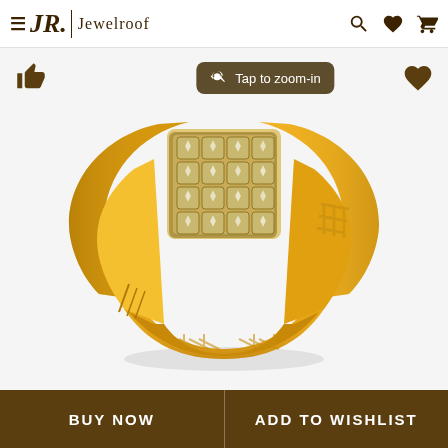Jewelroof
[Figure (photo): Gold men's ring with a square cluster of diamonds/crystals in a 4x4 grid setting, yellow gold band with geometric cutout patterns on the sides, displayed on white background with 'Tap to zoom-in' tooltip overlay.]
BUY NOW
ADD TO WISHLIST